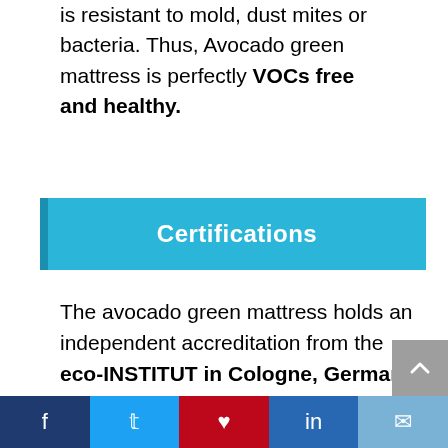is resistant to mold, dust mites or bacteria. Thus, Avocado green mattress is perfectly VOCs free and healthy.
Certifications
The avocado green mattress holds an independent accreditation from the eco-INSTITUT in Cologne, Germany. It means their green products are safe for the use in mattress manufacturing. It has no chemical compounds or flame retardants. What's more? It is also
f  t  p  in  ✉